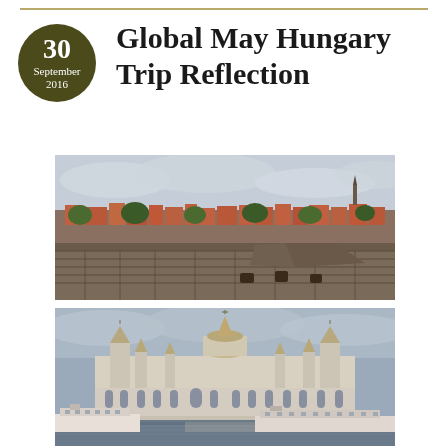Global May Hungary Trip Reflection
[Figure (photo): Aerial/elevated view of a Hungarian city with terracotta rooftops, green trees, and ancient stone fortress walls in the foreground under a cloudy sky]
[Figure (photo): View of the Hungarian Parliament Building from the Danube river, with ornate Gothic Revival architecture featuring central dome and spires, cruise ships in foreground under overcast sky]